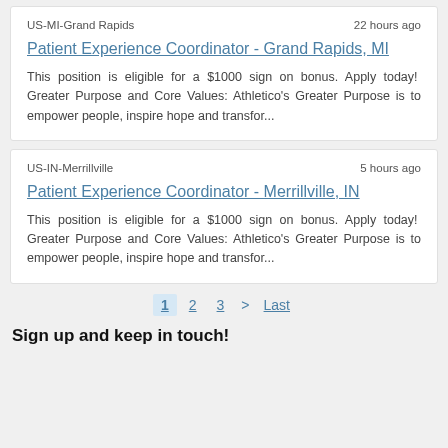US-MI-Grand Rapids
22 hours ago
Patient Experience Coordinator - Grand Rapids, MI
This position is eligible for a $1000 sign on bonus. Apply today!  Greater Purpose and Core Values: Athletico's Greater Purpose is to empower people, inspire hope and transfor...
US-IN-Merrillville
5 hours ago
Patient Experience Coordinator - Merrillville, IN
This position is eligible for a $1000 sign on bonus. Apply today!  Greater Purpose and Core Values: Athletico's Greater Purpose is to empower people, inspire hope and transfor...
1
2
3
>
Last
Sign up and keep in touch!